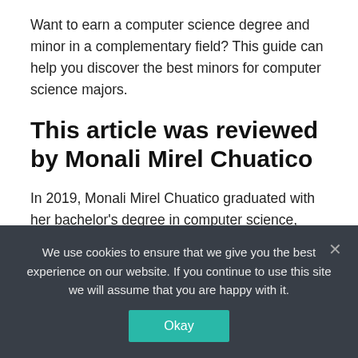Want to earn a computer science degree and minor in a complementary field? This guide can help you discover the best minors for computer science majors.
This article was reviewed by Monali Mirel Chuatico
In 2019, Monali Mirel Chuatico graduated with her bachelor's degree in computer science, giving her the foundation that she needed to excel in roles such as data engineer, front-end developer, UX designer, and computer science instructor.
Monali is currently a data engineer at Mission Lane. As a data
We use cookies to ensure that we give you the best experience on our website. If you continue to use this site we will assume that you are happy with it.